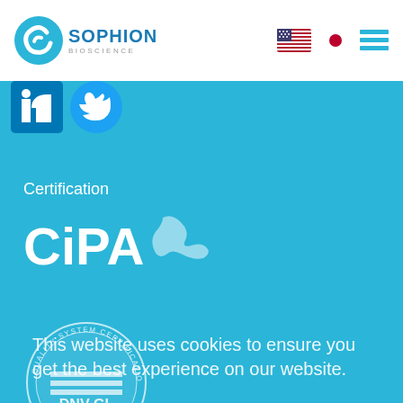Sophion Bioscience
[Figure (logo): Sophion Bioscience logo with circular C icon and company name]
[Figure (illustration): US flag icon and Japanese flag icon for language selection, plus hamburger menu icon]
[Figure (illustration): LinkedIn and Twitter social media icons on teal background]
Certification
[Figure (logo): CiPA certification logo in white on teal background]
This website uses cookies to ensure you get the best experience on our website.
[Figure (logo): DNV-GL ISO-9001 Quality System Certification circular seal stamp]
OK